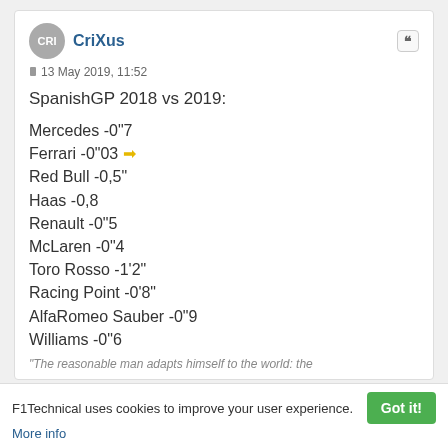CriXus
13 May 2019, 11:52
SpanishGP 2018 vs 2019:
Mercedes -0"7
Ferrari -0"03 👉
Red Bull -0,5"
Haas -0,8
Renault -0"5
McLaren -0"4
Toro Rosso -1'2"
Racing Point -0'8"
AlfaRomeo Sauber -0"9
Williams -0"6
"The reasonable man adapts himself to the world: the
F1Technical uses cookies to improve your user experience. More info | Got it!